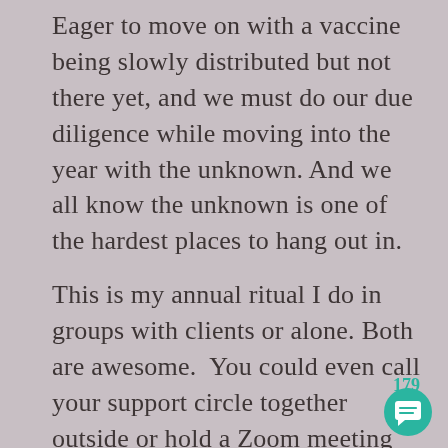Eager to move on with a vaccine being slowly distributed but not there yet, and we must do our due diligence while moving into the year with the unknown. And we all know the unknown is one of the hardest places to hang out in.
This is my annual ritual I do in groups with clients or alone. Both are awesome.  You could even call your support circle together outside or hold a Zoom meeting and do it
179